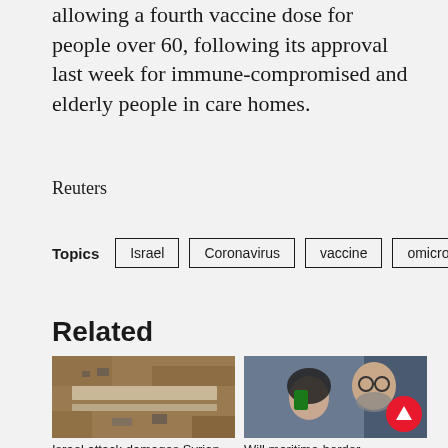allowing a fourth vaccine dose for people over 60, following its approval last week for immune-compromised and elderly people in care homes.
Reuters
Topics: Israel, Coronavirus, vaccine, omicron
Related
[Figure (photo): Aerial satellite view of Syrian airport showing damage]
[Figure (photo): Man with beard and glasses with woman in hijab holding phone, red scroll-up button overlay]
Israel attack damages Syrian airports
Will maritime-border...